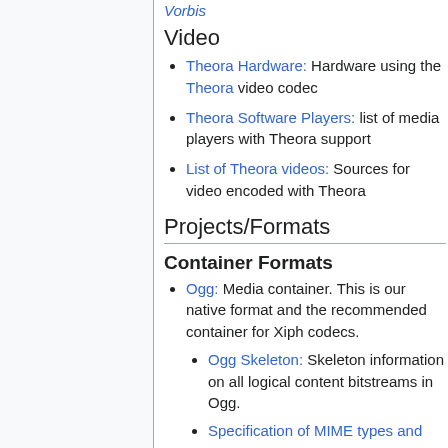Vorbis
Video
Theora Hardware: Hardware using the Theora video codec
Theora Software Players: list of media players with Theora support
List of Theora videos: Sources for video encoded with Theora
Projects/Formats
Container Formats
Ogg: Media container. This is our native format and the recommended container for Xiph codecs.
Ogg Skeleton: Skeleton information on all logical content bitstreams in Ogg.
Specification of MIME types and